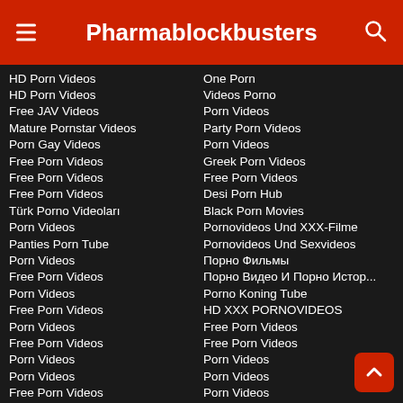Pharmablockbusters
HD Porn Videos
HD Porn Videos
Free JAV Videos
Mature Pornstar Videos
Porn Gay Videos
Free Porn Videos
Free Porn Videos
Free Porn Videos
Türk Porno Videoları
Porn Videos
Panties Porn Tube
Porn Videos
Free Porn Videos
Porn Videos
Free Porn Videos
Porn Videos
Free Porn Videos
Porn Videos
Porn Videos
Free Porn Videos
One Porn
Videos Porno
Porn Videos
Party Porn Videos
Porn Videos
Greek Porn Videos
Free Porn Videos
Desi Porn Hub
Black Porn Movies
Pornovideos Und XXX-Filme
Pornovideos Und Sexvideos
Порно Фильмы
Порно Видео И Порно Истор...
Porno Koning Tube
HD XXX PORNOVIDEOS
Free Porn Videos
Free Porn Videos
Porn Videos
Porn Videos
Porn Videos